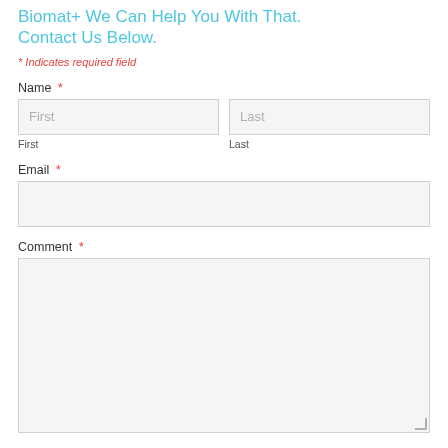Biomat+  We Can Help You With That. Contact Us Below.
* Indicates required field
Name *
First
Last
Email *
Comment *